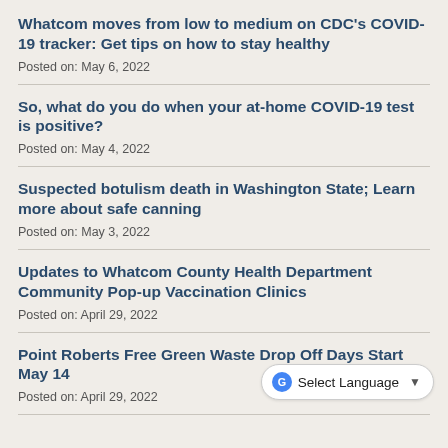Whatcom moves from low to medium on CDC's COVID-19 tracker: Get tips on how to stay healthy
Posted on: May 6, 2022
So, what do you do when your at-home COVID-19 test is positive?
Posted on: May 4, 2022
Suspected botulism death in Washington State; Learn more about safe canning
Posted on: May 3, 2022
Updates to Whatcom County Health Department Community Pop-up Vaccination Clinics
Posted on: April 29, 2022
Point Roberts Free Green Waste Drop Off Days Start May 14
Posted on: April 29, 2022